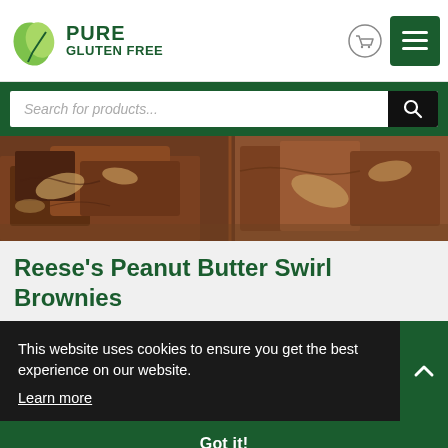[Figure (logo): Pure Gluten Free logo with green leaf icon and text]
[Figure (photo): Close-up photo of Reese's Peanut Butter Swirl Brownies showing chocolate brownies with peanut butter swirls]
Reese's Peanut Butter Swirl Brownies
This website uses cookies to ensure you get the best experience on our website.
Learn more
Got it!